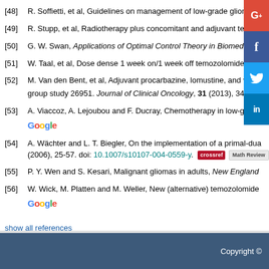[48] R. Soffietti, et al, Guidelines on management of low-grade gliomas: Report o...
[49] R. Stupp, et al, Radiotherapy plus concomitant and adjuvant temozolomide ...
[50] G. W. Swan, Applications of Optimal Control Theory in Biomedicine, Monog...
[51] W. Taal, et al, Dose dense 1 week on/1 week off temozolomide in recurrent ...
[52] M. Van den Bent, et al, Adjuvant procarbazine, lomustine, and vincristine ch... group study 26951. Journal of Clinical Oncology, 31 (2013), 344-350.
[53] A. Viaccoz, A. Lejoubou and F. Ducray, Chemotherapy in low-grade ...
[54] A. Wächter and L. T. Biegler, On the implementation of a primal-dua... (2006), 25-57. doi: 10.1007/s10107-004-0559-y.
[55] P. Y. Wen and S. Kesari, Malignant gliomas in adults, New England ...
[56] W. Wick, M. Platten and M. Weller, New (alternative) temozolomide ...
show all references
Copyright ©